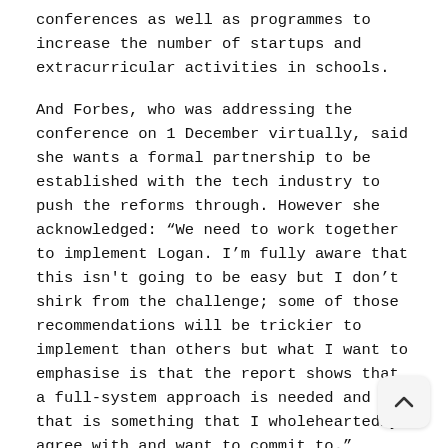conferences as well as programmes to increase the number of startups and extracurricular activities in schools.
And Forbes, who was addressing the conference on 1 December virtually, said she wants a formal partnership to be established with the tech industry to push the reforms through. However she acknowledged: “We need to work together to implement Logan. I’m fully aware that this isn't going to be easy but I don’t shirk from the challenge; some of those recommendations will be trickier to implement than others but what I want to emphasise is that the report shows that a full-system approach is needed and that is something that I wholeheartedly agree with and want to commit to.”
In sections of the 89-page report Logan is at times frank about the current failings of the education sector to adequately serve the tech economy; he describes an unsatisfactory situation whereby computing science is often taught by non-special...